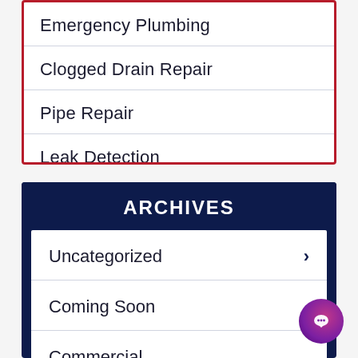Emergency Plumbing
Clogged Drain Repair
Pipe Repair
Leak Detection
ARCHIVES
Uncategorized
Coming Soon
Commercial